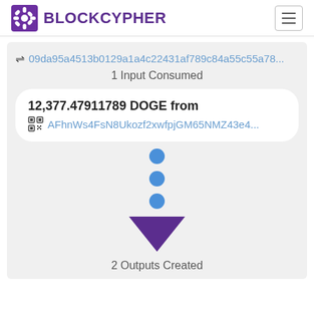BLOCKCYPHER
09da95a4513b0129a1a4c22431af789c84a55c55a78...
1 Input Consumed
12,377.47911789 DOGE from AFhnWs4FsN8Ukozf2xwfpjGM65NMZ43e4...
[Figure (infographic): Three blue dots arranged vertically followed by a purple downward-pointing triangle arrow]
2 Outputs Created